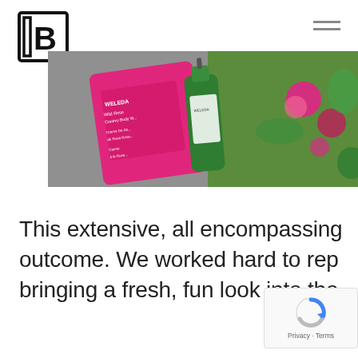[Figure (logo): Block B logo — outlined geometric B letter inside a square bracket shape]
[Figure (photo): Product photo showing Weleda Wild Rose Creamy Body Wash and a spray bottle alongside pink roses on a grey concrete background]
This extensive, all encompassing outcome. We worked hard to rep bringing a fresh, fun look into the
[Figure (other): reCAPTCHA badge with Privacy and Terms links]